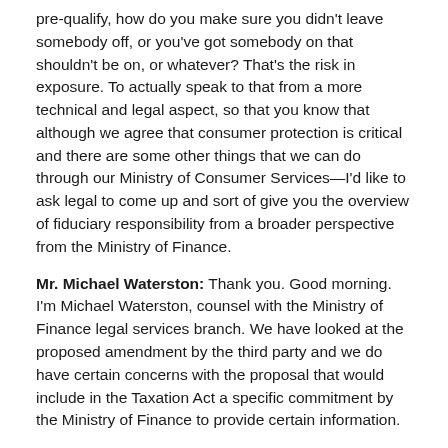pre-qualify, how do you make sure you didn't leave somebody off, or you've got somebody on that shouldn't be on, or whatever? That's the risk in exposure. To actually speak to that from a more technical and legal aspect, so that you know that although we agree that consumer protection is critical and there are some other things that we can do through our Ministry of Consumer Services—I'd like to ask legal to come up and sort of give you the overview of fiduciary responsibility from a broader perspective from the Ministry of Finance.
Mr. Michael Waterston: Thank you. Good morning. I'm Michael Waterston, counsel with the Ministry of Finance legal services branch. We have looked at the proposed amendment by the third party and we do have certain concerns with the proposal that would include in the Taxation Act a specific commitment by the Ministry of Finance to provide certain information.
First, we consider that the impartiality of the Ministry of